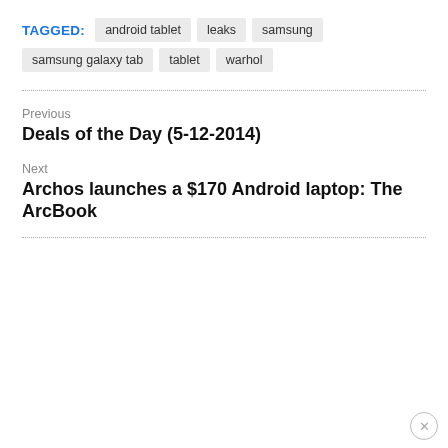TAGGED: android tablet  leaks  samsung  samsung galaxy tab  tablet  warhol
Previous
Deals of the Day (5-12-2014)
Next
Archos launches a $170 Android laptop: The ArcBook